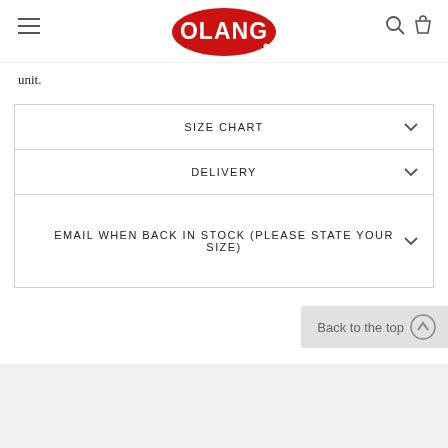OLANG (logo)
unit.
SIZE CHART
DELIVERY
EMAIL WHEN BACK IN STOCK (PLEASE STATE YOUR SIZE)
Back to the top